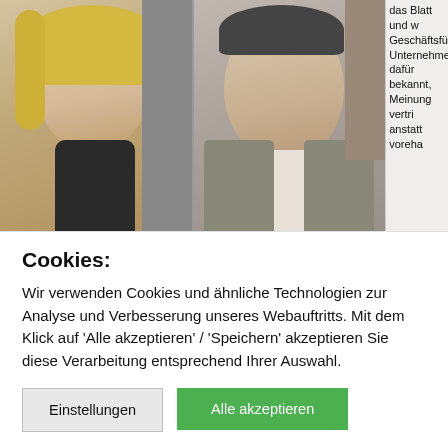[Figure (photo): Two people: a blonde woman on the left and a man on the right, photographed together]
nachzubeten. In scharfzüngigen, klugen Kommentaren stellte er zum Beispiel die Euro-Rettungspolitik in Frage und gab kritischen Geistern wie Bettina Röhl eine Kolumne, hier die aktuelle.
Miriam Meckel (46), Publizistin und derzeitige Direktorin des Instituts für M... Kommunikationsmanagement der Universität St. Gallen, wird ihm zum 1. Okt... Chefredakteurin folgen.
Cookies:
Wir verwenden Cookies und ähnliche Technologien zur Analyse und Verbesserung unseres Webauftritts. Mit dem Klick auf 'Alle akzeptieren' / 'Speichern' akzeptieren Sie diese Verarbeitung entsprechend Ihrer Auswahl.
Einstellungen | Alle akzeptieren